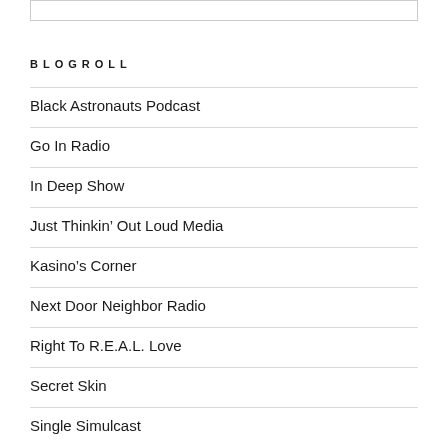BLOGROLL
Black Astronauts Podcast
Go In Radio
In Deep Show
Just Thinkin' Out Loud Media
Kasino's Corner
Next Door Neighbor Radio
Right To R.E.A.L. Love
Secret Skin
Single Simulcast